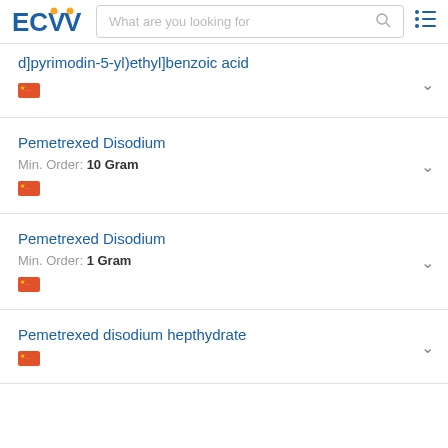ECVV - What are you looking for
d]pyrimodin-5-yl)ethyl]benzoic acid
Pemetrexed Disodium
Min. Order: 10 Gram
Pemetrexed Disodium
Min. Order: 1 Gram
Pemetrexed disodium hepthydrate